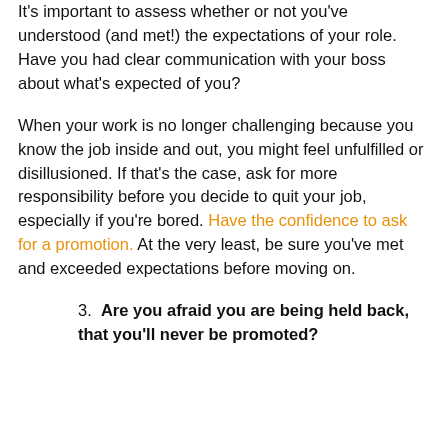It's important to assess whether or not you've understood (and met!) the expectations of your role. Have you had clear communication with your boss about what's expected of you?
When your work is no longer challenging because you know the job inside and out, you might feel unfulfilled or disillusioned. If that's the case, ask for more responsibility before you decide to quit your job, especially if you're bored. Have the confidence to ask for a promotion. At the very least, be sure you've met and exceeded expectations before moving on.
3. Are you afraid you are being held back, that you'll never be promoted?